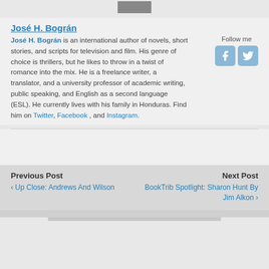[Figure (photo): Small cropped photo at top center]
José H. Bográn
José H. Bográn is an international author of novels, short stories, and scripts for television and film. His genre of choice is thrillers, but he likes to throw in a twist of romance into the mix. He is a freelance writer, a translator, and a university professor of academic writing, public speaking, and English as a second language (ESL). He currently lives with his family in Honduras. Find him on Twitter, Facebook , and Instagram.
Previous Post
‹ Up Close: Andrews And Wilson
Next Post
BookTrib Spotlight: Sharon Hunt By Jim Alkon ›